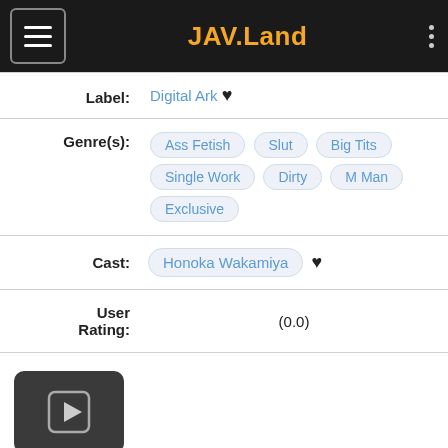JAV.Land
| Field | Value |
| --- | --- |
| Label: | Digital Ark ♥ |
| Genre(s): | Ass Fetish  Slut  Big Tits  Single Work  Dirty  M Man  Exclusive |
| Cast: | Honoka Wakamiya ♥ |
| User Rating: | (0.0) |
[Figure (other): Video thumbnail with play button icon]
User Replys
Show Reply in All Languages